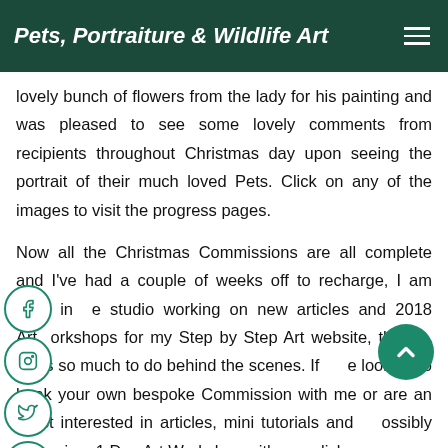Pets, Portraiture & Wildlife Art
lovely bunch of flowers from the lady for his painting and was pleased to see some lovely comments from recipients throughout Christmas day upon seeing the portrait of their much loved Pets. Click on any of the images to visit the progress pages.
Now all the Christmas Commissions are all complete and I've had a couple of weeks off to recharge, I am back in the studio working on new articles and 2018 Art Workshops for my Step by Step Art website, there's always so much to do behind the scenes. If looking to book your own bespoke Commission with me or are an Artist interested in articles, mini tutorials and possibly taking in a 1 Day Art Workshop with me, click on